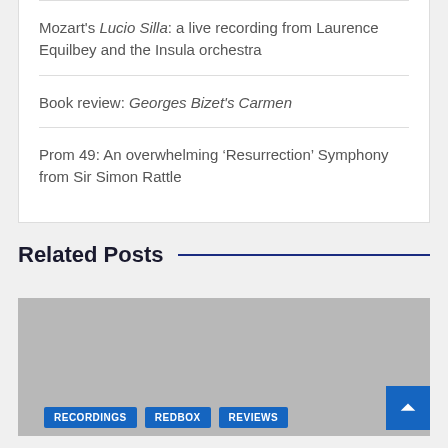Mozart's Lucio Silla: a live recording from Laurence Equilbey and the Insula orchestra
Book review: Georges Bizet's Carmen
Prom 49: An overwhelming 'Resurrection' Symphony from Sir Simon Rattle
Related Posts
[Figure (photo): Gray placeholder image for a related post, with colored tag labels RECORDINGS, REDBOX, REVIEWS at the bottom left]